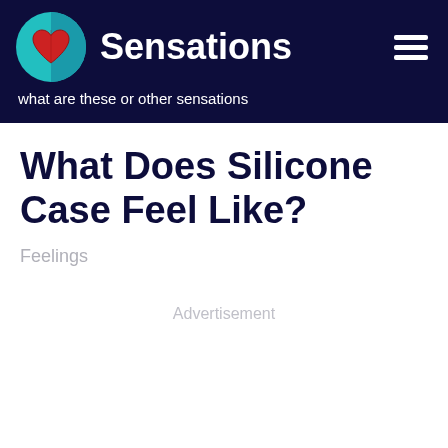Sensations — what are these or other sensations
What Does Silicone Case Feel Like?
Feelings
Advertisement